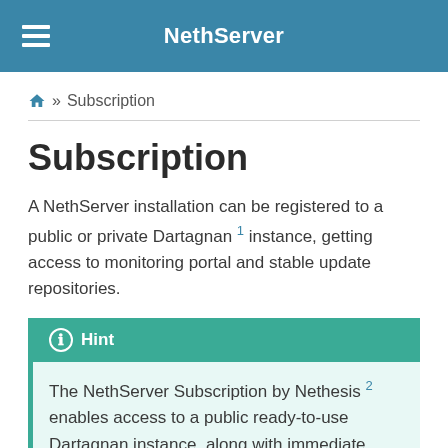NethServer
» Subscription
Subscription
A NethServer installation can be registered to a public or private Dartagnan 1 instance, getting access to monitoring portal and stable update repositories.
Hint
The NethServer Subscription by Nethesis 2 enables access to a public ready-to-use Dartagnan instance, along with immediate professional support services for your NethServer deployments. Detailed info